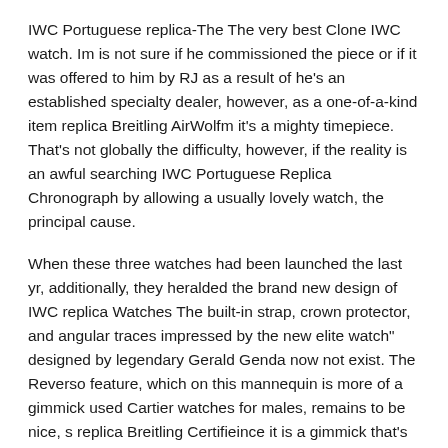IWC Portuguese replica-The The very best Clone IWC watch. Im is not sure if he commissioned the piece or if it was offered to him by RJ as a result of he's an established specialty dealer, however, as a one-of-a-kind item replica Breitling AirWolfm it's a mighty timepiece. That's not globally the difficulty, however, if the reality is an awful searching IWC Portuguese Replica Chronograph by allowing a usually lovely watch, the principal cause.
When these three watches had been launched the last yr, additionally, they heralded the brand new design of IWC replica Watches The built-in strap, crown protector, and angular traces impressed by the new elite watch" designed by legendary Gerald Genda now not exist. The Reverso feature, which on this mannequin is more of a gimmick used Cartier watches for males, remains to be nice, s replica Breitling Certifieince it is a gimmick that's rooted in 80+ years of heritage and allows me to see the movement without taking the watch off.